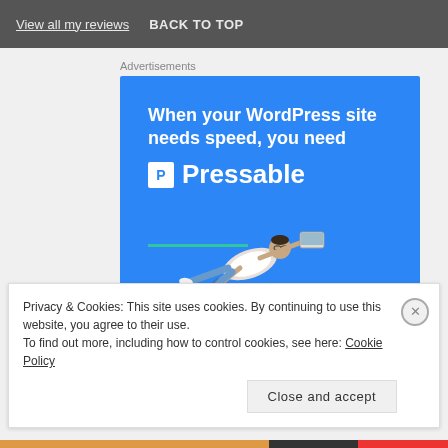View all my reviews   BACK TO TOP
Advertisements
[Figure (illustration): Blue advertisement banner for Pressable WordPress hosting. Shows white bold text 'When your WordPress site needs speed, you need' followed by the Pressable logo (white P icon in box plus 'Pressable' in large white text), a teal green horizontal underline, a person flying horizontally holding a laptop, and a 'START NOW' button with teal border.]
Privacy & Cookies: This site uses cookies. By continuing to use this website, you agree to their use.
To find out more, including how to control cookies, see here: Cookie Policy
Close and accept